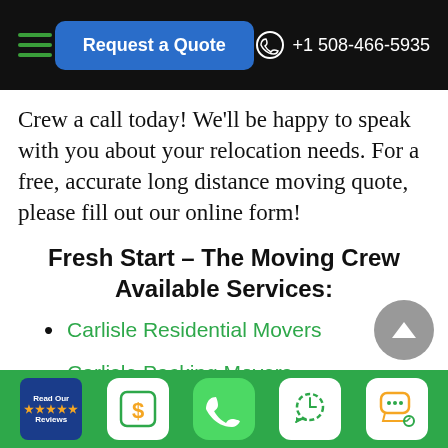Request a Quote | +1 508-466-5935
Crew a call today! We'll be happy to speak with you about your relocation needs. For a free, accurate long distance moving quote, please fill out our online form!
Fresh Start – The Moving Crew Available Services:
Carlisle Residential Movers
Carlisle Packing Movers
Carlisle One-Piece Movers
Carlisle Storage Movers
Read Our Reviews | Request a Quote | Call | Callback | Chat